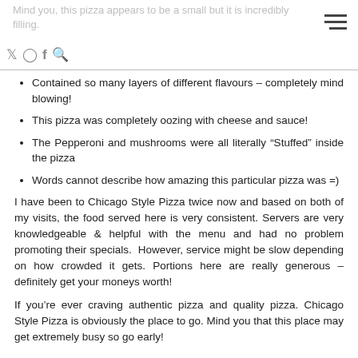Mind you, this pizza appears to be a small but it is incredibly filling.
Contained so many layers of different flavours – completely mind blowing!
This pizza was completely oozing with cheese and sauce!
The Pepperoni and mushrooms were all literally “Stuffed” inside the pizza
Words cannot describe how amazing this particular pizza was =)
I have been to Chicago Style Pizza twice now and based on both of my visits, the food served here is very consistent. Servers are very knowledgeable & helpful with the menu and had no problem promoting their specials.  However, service might be slow depending on how crowded it gets. Portions here are really generous – definitely get your moneys worth!
If you’re ever craving authentic pizza and quality pizza. Chicago Style Pizza is obviously the place to go. Mind you that this place may get extremely busy so go early!